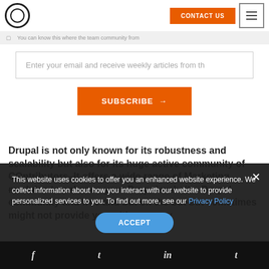CONTACT US | menu
Enter your email and receive weekly articles from th
SUBSCRIBE →
Drupal is not only known for its robustness and scalability but also for its huge active community of COntributors. It offers a wide range of Marketing modules to enhance your Drupal website. Drupal community and free and but on the but but sometimes might not provide you with as many
This website uses cookies to offer you an enhanced website experience. We collect information about how you interact with our website to provide personalized services to you. To find out more, see our Privacy Policy
ACCEPT
f  t  in  t